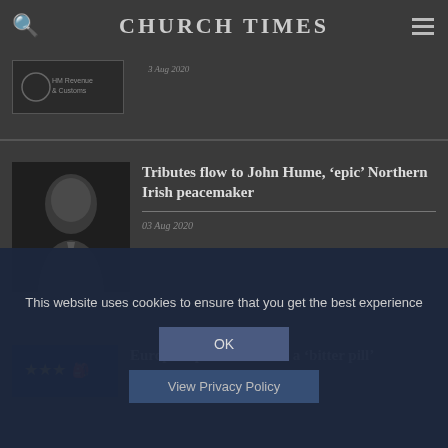CHURCH TIMES
[Figure (logo): HM Revenue and Customs logo thumbnail with date 3 Aug 2020]
3 Aug 2020
[Figure (photo): Portrait photo of John Hume, older man in suit against dark background]
Tributes flow to John Hume, 'epic' Northern Irish peacemaker
03 Aug 2020
Europe is presented with a 'bitter pill'
This website uses cookies to ensure that you get the best experience
OK
View Privacy Policy